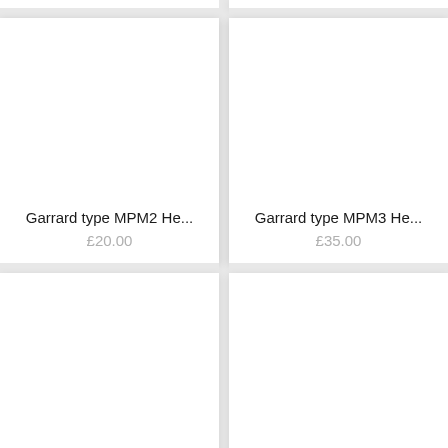[Figure (screenshot): Product card top partial - cut off at top of page]
[Figure (screenshot): Product card top partial - cut off at top of page]
[Figure (photo): White product image area for Garrard type MPM2 He...]
Garrard type MPM2 He...
£20.00
[Figure (photo): White product image area for Garrard type MPM3 He...]
Garrard type MPM3 He...
£35.00
[Figure (screenshot): Product card bottom partial - cut off at bottom of page]
[Figure (screenshot): Product card bottom partial - cut off at bottom of page]